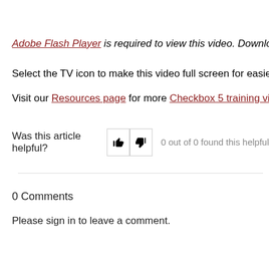Adobe Flash Player is required to view this video. Download
Select the TV icon to make this video full screen for easier vi
Visit our Resources page for more Checkbox 5 training video
Was this article helpful? 0 out of 0 found this helpful
0 Comments
Please sign in to leave a comment.